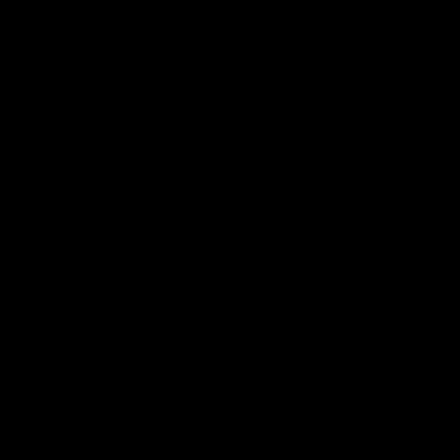[Figure (photo): A completely black image or very dark photograph with minimal visible detail.]